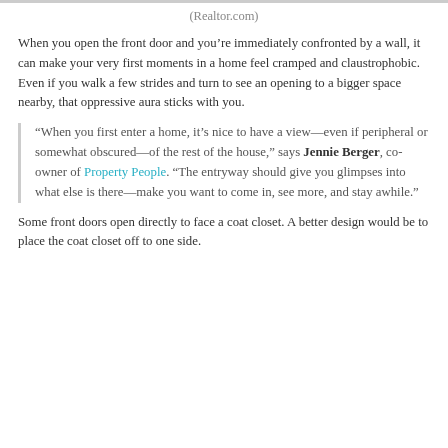(Realtor.com)
When you open the front door and you’re immediately confronted by a wall, it can make your very first moments in a home feel cramped and claustrophobic. Even if you walk a few strides and turn to see an opening to a bigger space nearby, that oppressive aura sticks with you.
“When you first enter a home, it’s nice to have a view—even if peripheral or somewhat obscured—of the rest of the house,” says Jennie Berger, co-owner of Property People. “The entryway should give you glimpses into what else is there—make you want to come in, see more, and stay awhile.”
Some front doors open directly to face a coat closet. A better design would be to place the coat closet off to one side.